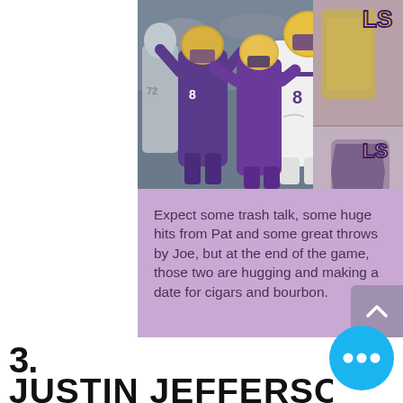[Figure (photo): College football action photo showing LSU players in purple and gold uniforms competing for a catch/tackle against opponents in white and grey uniforms. One player in white LSU jersey (number 8) is catching a football while being defended.]
[Figure (photo): Right side strip showing partial cropped images of LSU-related football photos with LSU text visible in gold, appearing multiple times vertically.]
Expect some trash talk, some huge hits from Pat and some great throws by Joe, but at the end of the game, those two are hugging and making a date for cigars and bourbon.
3.
JUSTIN JEFFERSON